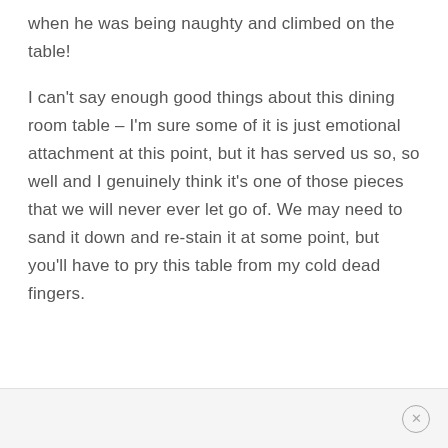when he was being naughty and climbed on the table!
I can't say enough good things about this dining room table – I'm sure some of it is just emotional attachment at this point, but it has served us so, so well and I genuinely think it's one of those pieces that we will never ever let go of. We may need to sand it down and re-stain it at some point, but you'll have to pry this table from my cold dead fingers.
×